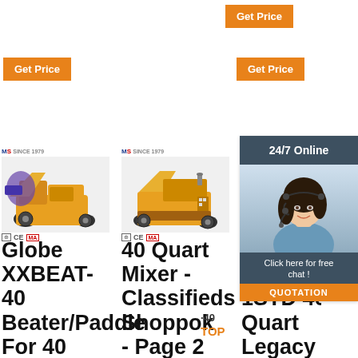[Figure (screenshot): E-commerce page showing three construction mixer products with Get Price buttons, product images with certification badges, product titles, and a 24/7 online chat widget with a customer service representative.]
Get Price
Get Price
Get Price
24/7 Online
Click here for free chat !
QUOTATION
Globe XXBEAT-40 Beater/Paddle For 40
40 Quart Mixer - Classifieds Shoppok - Page 2
Ho HL400-1STD 40 Quart Legacy